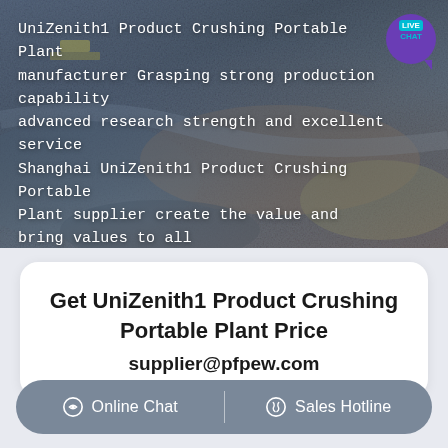[Figure (photo): Aerial photo of a quarry/mining site with heavy machinery, overlaid with white text about UniZenith1 Crushing Portable Plant and a live chat badge in the top right.]
UniZenith1 Product Crushing Portable Plant manufacturer Grasping strong production capability advanced research strength and excellent service Shanghai UniZenith1 Product Crushing Portable Plant supplier create the value and bring values to all of customers.
Get UniZenith1 Product Crushing Portable Plant Price supplier@pfpew.com
Online Chat
Sales Hotline